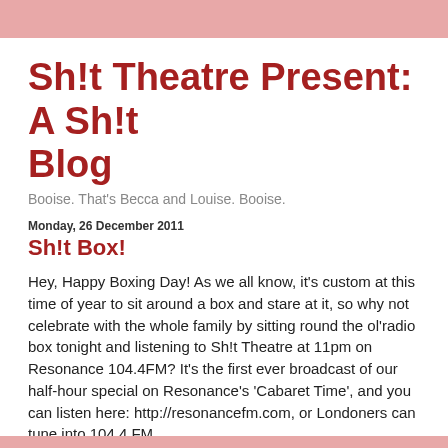Sh!t Theatre Present: A Sh!t Blog
Booise. That's Becca and Louise. Booise.
Monday, 26 December 2011
Sh!t Box!
Hey, Happy Boxing Day! As we all know, it's custom at this time of year to sit around a box and stare at it, so why not celebrate with the whole family by sitting round the ol'radio box tonight and listening to Sh!t Theatre at 11pm on Resonance 104.4FM? It's the first ever broadcast of our half-hour special on Resonance's 'Cabaret Time', and you can listen here: http://resonancefm.com, or Londoners can tune into 104.4 FM...